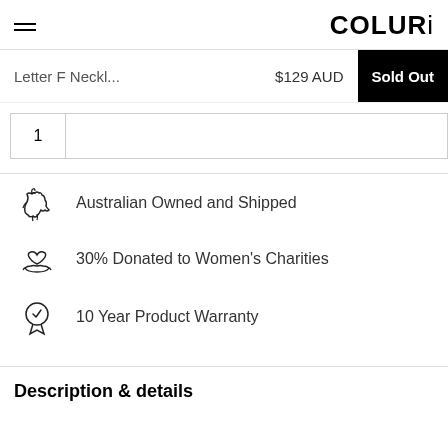COLURi
Letter F Neckl...   $129 AUD   Sold Out
1
Australian Owned and Shipped
30% Donated to Women's Charities
10 Year Product Warranty
Description & details